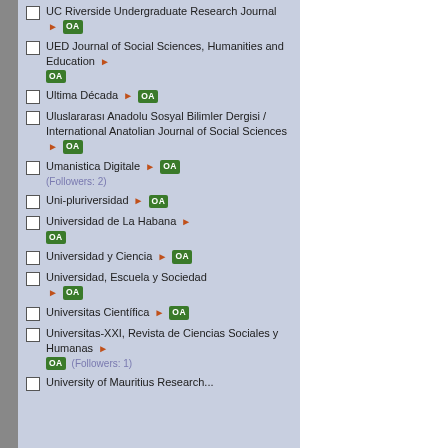UC Riverside Undergraduate Research Journal ▶ OA
UED Journal of Social Sciences, Humanities and Education ▶ OA
Ultima Década ▶ OA
Uluslararası Anadolu Sosyal Bilimler Dergisi / International Anatolian Journal of Social Sciences ▶ OA
Umanistica Digitale ▶ OA (Followers: 2)
Uni-pluriversidad ▶ OA
Universidad de La Habana ▶ OA
Universidad y Ciencia ▶ OA
Universidad, Escuela y Sociedad ▶ OA
Universitas Científica ▶ OA
Universitas-XXI, Revista de Ciencias Sociales y Humanas ▶ OA (Followers: 1)
University of Mauritius Research...